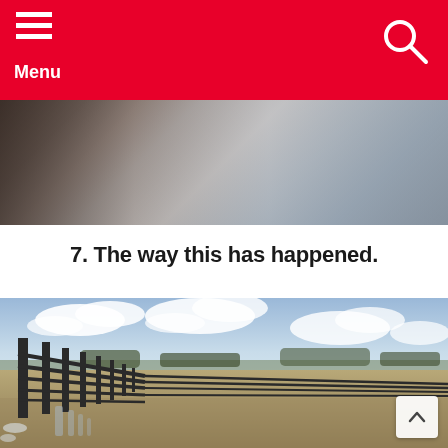Menu
[Figure (photo): Partial view of an indoor room, showing what appears to be a door frame and interior elements, in muted tones.]
7. The way this has happened.
[Figure (photo): Outdoor farm scene with a long wooden fence receding into the distance, open fields with dry grass, scattered trees in background, and partly cloudy sky.]